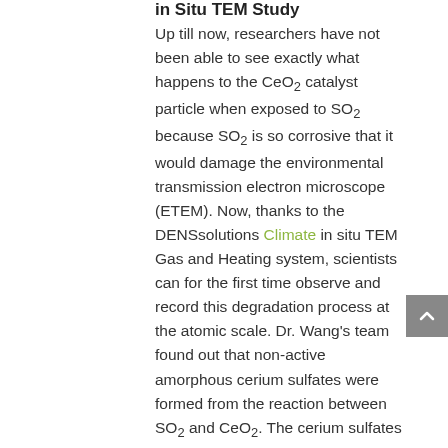in Situ TEM Study
Up till now, researchers have not been able to see exactly what happens to the CeO2 catalyst particle when exposed to SO2 because SO2 is so corrosive that it would damage the environmental transmission electron microscope (ETEM). Now, thanks to the DENSsolutions Climate in situ TEM Gas and Heating system, scientists can for the first time observe and record this degradation process at the atomic scale. Dr. Wang's team found out that non-active amorphous cerium sulfates were formed from the reaction between SO2 and CeO2. The cerium sulfates formed a deposit which gradually coated the crystalline surface of the nanorods that was catalytically active.